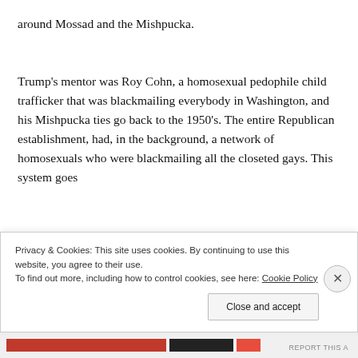around Mossad and the Mishpucka.
Trump’s mentor was Roy Cohn, a homosexual pedophile child trafficker that was blackmailing everybody in Washington, and his Mishpucka ties go back to the 1950’s. The entire Republican establishment, had, in the background, a network of homosexuals who were blackmailing all the closeted gays. This system goes
Privacy & Cookies: This site uses cookies. By continuing to use this website, you agree to their use.
To find out more, including how to control cookies, see here: Cookie Policy
Close and accept